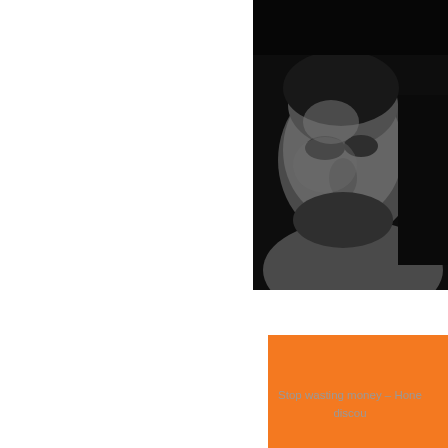[Figure (photo): Black and white close-up portrait photo of an older man's face, partially visible, dark background, positioned in the upper right area of the page, cropped at the edges]
[Figure (logo): Orange square background with white cursive text beginning with 'ho' (Honey logo), positioned in the right-center area of the page]
Stop wasting money – Hone... discou...